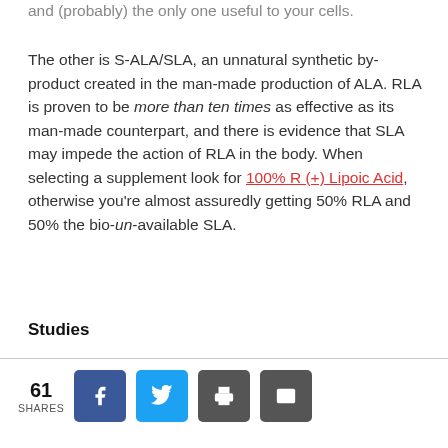and (probably) the only one useful to your cells.
The other is S-ALA/SLA, an unnatural synthetic by-product created in the man-made production of ALA. RLA is proven to be more than ten times as effective as its man-made counterpart, and there is evidence that SLA may impede the action of RLA in the body. When selecting a supplement look for 100% R (+) Lipoic Acid, otherwise you’re almost assuredly getting 50% RLA and 50% the bio-un-available SLA.
Studies
61 SHARES